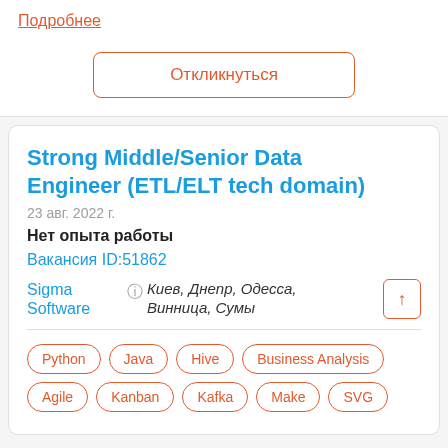Подробнее
Откликнуться
Strong Middle/Senior Data Engineer (ETL/ELT tech domain)
23 авг. 2022 г.
Нет опыта работы
Вакансия ID:51862
Sigma Software
Киев, Днепр, Одесса, Винница, Сумы
Python
Java
Hive
Business Analysis
Agile
Kanban
Kafka
Make
SVG